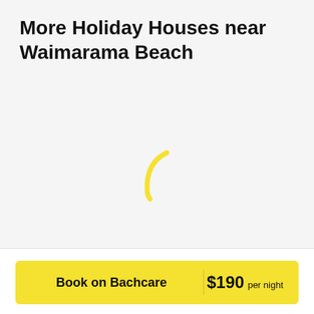More Holiday Houses near Waimarama Beach
[Figure (other): Loading spinner arc (yellow partial circle arc indicating content is loading)]
Book on Bachcare  $190 per night